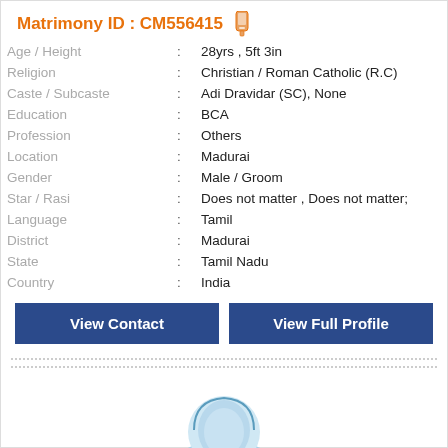Matrimony ID : CM556415
| Field | : | Value |
| --- | --- | --- |
| Age / Height | : | 28yrs , 5ft 3in |
| Religion | : | Christian / Roman Catholic (R.C) |
| Caste / Subcaste | : | Adi Dravidar (SC), None |
| Education | : | BCA |
| Profession | : | Others |
| Location | : | Madurai |
| Gender | : | Male / Groom |
| Star / Rasi | : | Does not matter , Does not matter; |
| Language | : | Tamil |
| District | : | Madurai |
| State | : | Tamil Nadu |
| Country | : | India |
View Contact
View Full Profile
[Figure (illustration): Partial avatar/profile illustration of a person in blue tones, cropped at bottom of page]